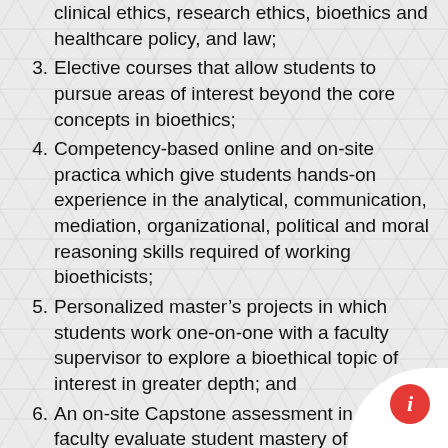clinical ethics, research ethics, bioethics and healthcare policy, and law;
3. Elective courses that allow students to pursue areas of interest beyond the core concepts in bioethics;
4. Competency-based online and on-site practica which give students hands-on experience in the analytical, communication, mediation, organizational, political and moral reasoning skills required of working bioethicists;
5. Personalized master’s projects in which students work one-on-one with a faculty supervisor to explore a bioethical topic of interest in greater depth; and
6. An on-site Capstone assessment in which faculty evaluate student mastery of the knowledge and skills learned.